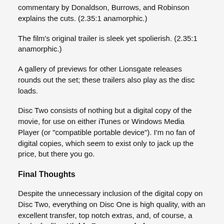commentary by Donaldson, Burrows, and Robinson explains the cuts. (2.35:1 anamorphic.)
The film's original trailer is sleek yet spolierish. (2.35:1 anamorphic.)
A gallery of previews for other Lionsgate releases rounds out the set; these trailers also play as the disc loads.
Disc Two consists of nothing but a digital copy of the movie, for use on either iTunes or Windows Media Player (or "compatible portable device"). I'm no fan of digital copies, which seem to exist only to jack up the price, but there you go.
Final Thoughts
Despite the unnecessary inclusion of the digital copy on Disc Two, everything on Disc One is high quality, with an excellent transfer, top notch extras, and, of course, a heck of a film. Highly Recommended.